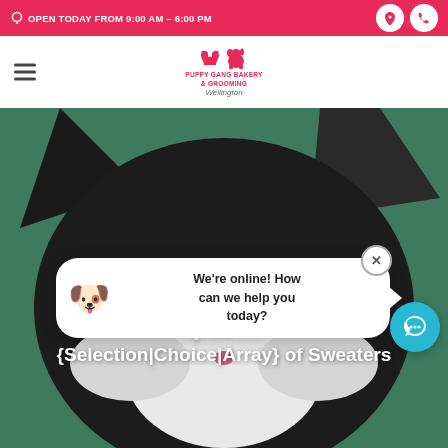OPEN TODAY FROM 9:00 AM - 6:00 PM
[Figure (logo): Pet store logo with cat and dog silhouettes, text 'Puppy Gang Bakery & Grooming Wellington']
[Figure (photo): Close-up photo of a black and white cat's head against a green background]
{Buy|Shop| ... aters for C... {The ... {Selection|Choice|Array} of Sweaters for C...
[Figure (screenshot): Chat popup widget with dog emoji and text 'We're online! How can we help you today?' with close X button and teal chat button]